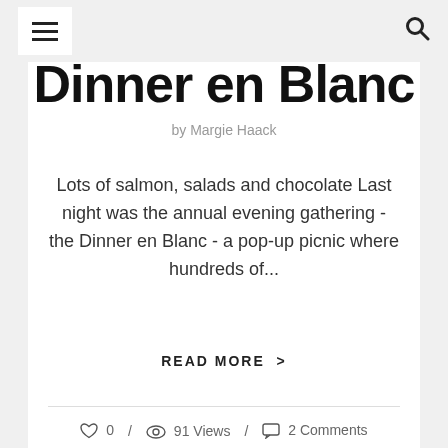≡  [hamburger menu]   [search icon]
Dinner en Blanc
by Margie Haack
Lots of salmon, salads and chocolate Last night was the annual evening gathering - the Dinner en Blanc - a pop-up picnic where hundreds of...
READ MORE >
0  /  91 Views  /  2 Comments